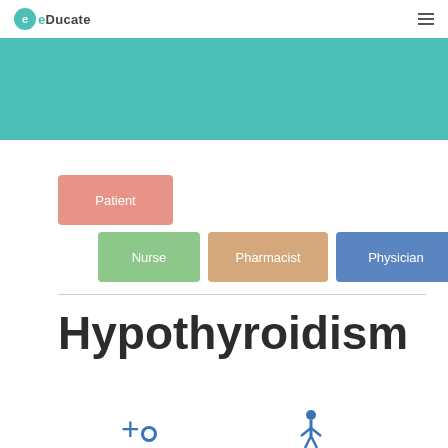eDucate
[Figure (illustration): Teal/turquoise banner background strip]
Patient
Nurse
Pharmacist
Physician
Hypothyroidism
[Figure (illustration): Medical icons at bottom: plus sign with circle, and a figure icon]